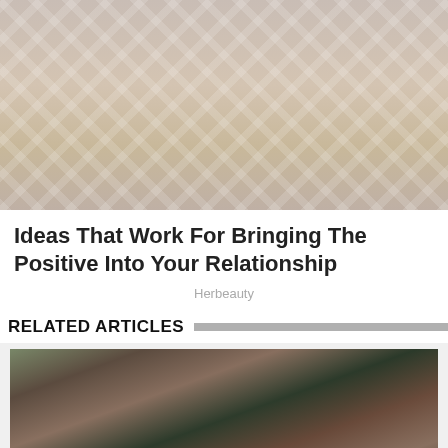[Figure (photo): Woman in white crochet/net outfit standing near a bed with white pillows in a hotel room]
Ideas That Work For Bringing The Positive Into Your Relationship
Herbeauty
RELATED ARTICLES
[Figure (photo): Group of people at an event; a woman in a blue floral dress and a man in a patterned shirt and navy vest are prominent in the foreground]